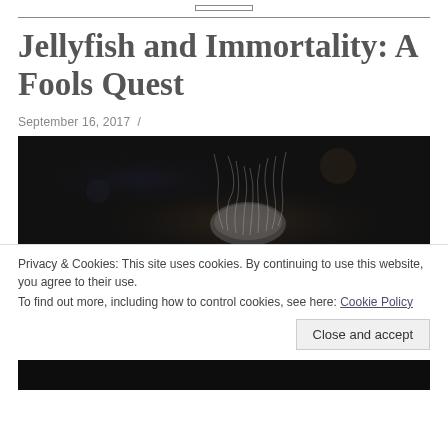Jellyfish and Immortality: A Fools Quest
September 16, 2017  /
[Figure (photo): Dark underwater photo of a jellyfish with glowing tentacles on a black background]
Privacy & Cookies: This site uses cookies. By continuing to use this website, you agree to their use.
To find out more, including how to control cookies, see here: Cookie Policy
Close and accept
[Figure (photo): Dark underwater photo continuation at bottom of page]